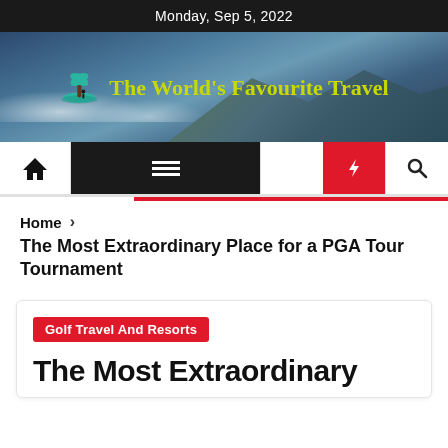Monday, Sep 5, 2022
[Figure (illustration): Website header banner with mountain/sky landscape background. Shows logo icon (teal palm tree island) and site name 'The World's Favourite Travel' in yellow-green bold text.]
[Figure (screenshot): Navigation bar with home icon, hamburger menu on dark background, moon icon, red lightning bolt icon, and search icon.]
Home > The Most Extraordinary Place for a PGA Tour Tournament
Golf Travel And Resorts
The Most Extraordinary